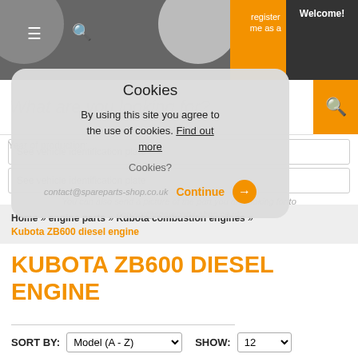[Figure (screenshot): Website top navigation bar with hamburger menu, search icon, orange accent, and Welcome! text on dark background]
What are you looking for?
Cookies
By using this site you agree to the use of cookies. Find out more
Cookies? Continue
See vehicle identification plate
Year of production: See vehicle identification plate
You can also send a picture of the part you are looking for to contact@spareparts-shop.co.uk
Home » engine parts » Kubota combustion engines »
Kubota ZB600 diesel engine
KUBOTA ZB600 DIESEL ENGINE
SORT BY: Model (A - Z)   SHOW: 12